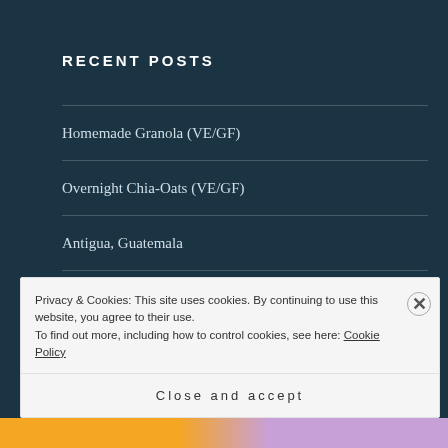RECENT POSTS
Homemade Granola (VE/GF)
Overnight Chia-Oats (VE/GF)
Antigua, Guatemala
Butternut Squash Soup (GF/VE)
Pesto Roll-Ups (GF)
Privacy & Cookies: This site uses cookies. By continuing to use this website, you agree to their use.
To find out more, including how to control cookies, see here: Cookie Policy
Close and accept